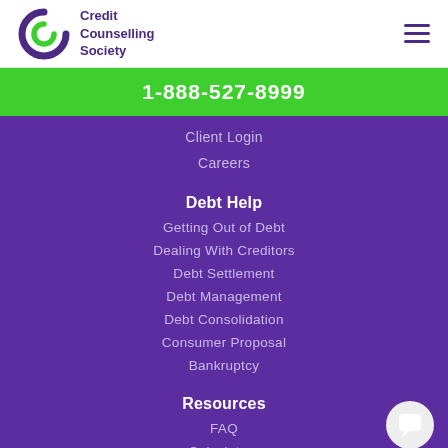[Figure (logo): Credit Counselling Society logo with circular 'C' icon in purple and green, and 'Credit Counselling Society' text in purple]
1-888-527-8999
Client Login
Careers
Debt Help
Getting Out of Debt
Dealing With Creditors
Debt Settlement
Debt Management
Debt Consolidation
Consumer Proposal
Bankruptcy
Resources
FAQ
Calculators